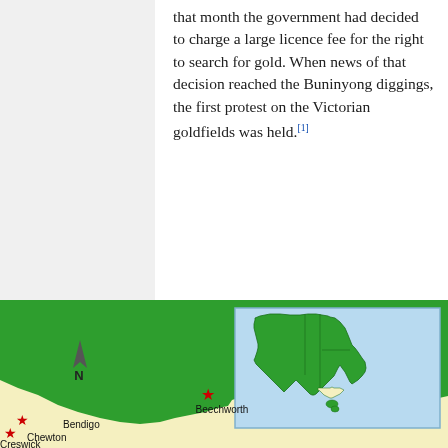that month the government had decided to charge a large licence fee for the right to search for gold. When news of that decision reached the Buninyong diggings, the first protest on the Victorian goldfields was held.[1]
[Figure (map): Map of Victoria, Australia showing goldfield locations including Beechworth, Bendigo, Chewton, and Creswick marked with red stars. Inset map shows Australia with Victoria highlighted in cream/yellow. North arrow shown. Green areas represent New South Wales/surrounding states, cream/yellow area is Victoria.]